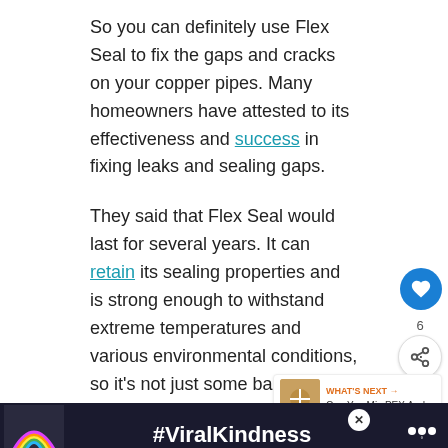So you can definitely use Flex Seal to fix the gaps and cracks on your copper pipes. Many homeowners have attested to its effectiveness and success in fixing leaks and sealing gaps.
They said that Flex Seal would last for several years. It can retain its sealing properties and is strong enough to withstand extreme temperatures and various environmental conditions, so it's not just some band-aid solution to your leaking pipe.
How To Use Flex Seal
[Figure (photo): Bottom portion of a webpage showing an image strip of what appears to be plumbing/pipes, a 'What's Next' sidebar widget showing 'Can You Mix PEX And...' with a thumbnail, UI buttons for heart/like and share, and an advertisement banner reading #ViralKindness with a rainbow graphic.]